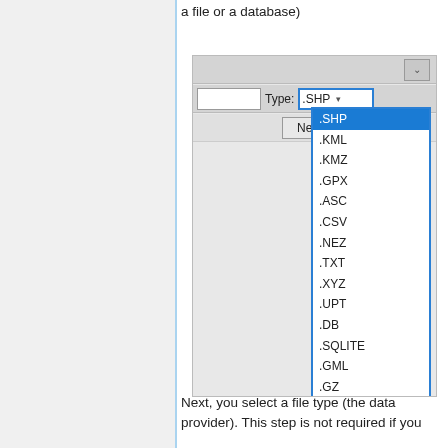a file or a database)
[Figure (screenshot): A dialog box showing a file type dropdown menu with .SHP selected (highlighted in blue). The dropdown list shows file types: .SHP, .KML, .KMZ, .GPX, .ASC, .CSV, .NEZ, .TXT, .XYZ, .UPT, .DB, .SQLITE, .GML, .GZ, .XML, .SDF, .DGN, .DXF, .TAB, .MIF, .JSON, .GEOJSON. There is a 'Next >' button and a 'Type:' label with the .SHP dropdown at the top.]
Next, you select a file type (the data provider). This step is not required if you